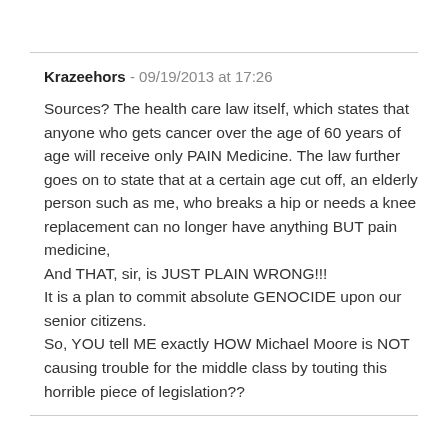Krazeehors - 09/19/2013 at 17:26
Sources? The health care law itself, which states that anyone who gets cancer over the age of 60 years of age will receive only PAIN Medicine. The law further goes on to state that at a certain age cut off, an elderly person such as me, who breaks a hip or needs a knee replacement can no longer have anything BUT pain medicine,
And THAT, sir, is JUST PLAIN WRONG!!!
It is a plan to commit absolute GENOCIDE upon our senior citizens.
So, YOU tell ME exactly HOW Michael Moore is NOT causing trouble for the middle class by touting this horrible piece of legislation??